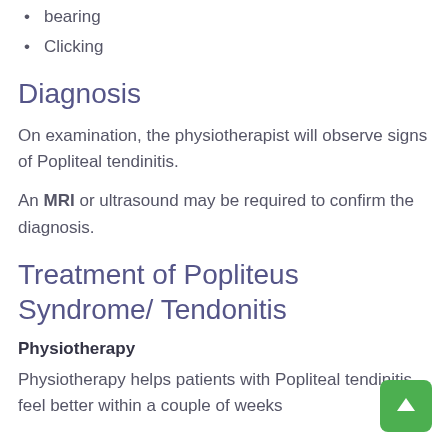bearing
Clicking
Diagnosis
On examination, the physiotherapist will observe signs of Popliteal tendinitis.
An MRI or ultrasound may be required to confirm the diagnosis.
Treatment of Popliteus Syndrome/ Tendonitis
Physiotherapy
Physiotherapy helps patients with Popliteal tendinitis feel better within a couple of weeks